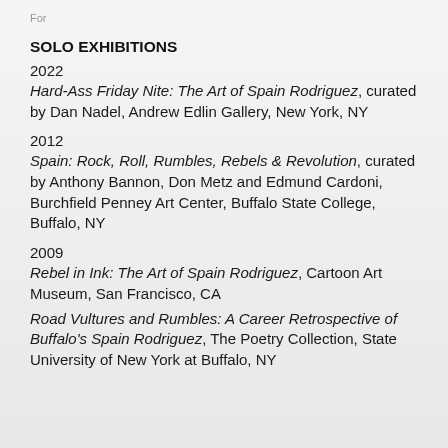For
SOLO EXHIBITIONS
2022
Hard-Ass Friday Nite: The Art of Spain Rodriguez, curated by Dan Nadel, Andrew Edlin Gallery, New York, NY
2012
Spain: Rock, Roll, Rumbles, Rebels & Revolution, curated by Anthony Bannon, Don Metz and Edmund Cardoni, Burchfield Penney Art Center, Buffalo State College, Buffalo, NY
2009
Rebel in Ink: The Art of Spain Rodriguez, Cartoon Art Museum, San Francisco, CA
Road Vultures and Rumbles: A Career Retrospective of Buffalo's Spain Rodriguez, The Poetry Collection, State University of New York at Buffalo, NY